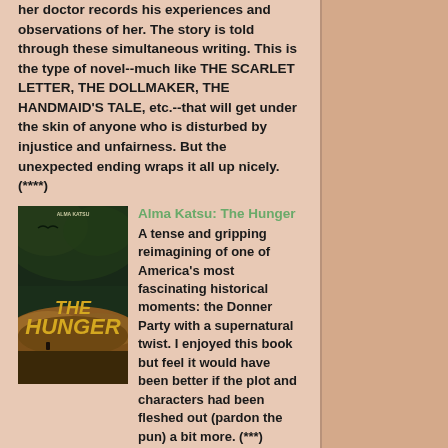her doctor records his experiences and observations of her. The story is told through these simultaneous writing. This is the type of novel--much like THE SCARLET LETTER, THE DOLLMAKER, THE HANDMAID'S TALE, etc.--that will get under the skin of anyone who is disturbed by injustice and unfairness. But the unexpected ending wraps it all up nicely. (****)
[Figure (illustration): Book cover for 'The Hunger' by Alma Katsu — dark moody cover with desert landscape, stormy green sky, and large yellow title text.]
Alma Katsu: The Hunger
A tense and gripping reimagining of one of America's most fascinating historical moments: the Donner Party with a supernatural twist. I enjoyed this book but feel it would have been better if the plot and characters had been fleshed out (pardon the pun) a bit more. (***)
[Figure (illustration): Partially visible book cover at the bottom of the page.]